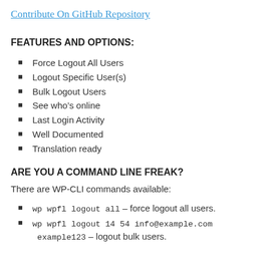Contribute On GitHub Repository
FEATURES AND OPTIONS:
Force Logout All Users
Logout Specific User(s)
Bulk Logout Users
See who’s online
Last Login Activity
Well Documented
Translation ready
ARE YOU A COMMAND LINE FREAK?
There are WP-CLI commands available:
wp wpfl logout all – force logout all users.
wp wpfl logout 14 54 info@example.com example123 – logout bulk users.